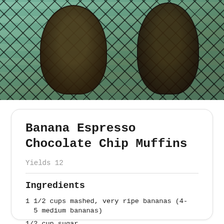[Figure (photo): Photo of banana espresso chocolate chip muffins on a wire cooling rack with a teal/green tiled background]
Banana Espresso Chocolate Chip Muffins
Yields 12
Ingredients
1 1/2 cups mashed, very ripe bananas (4-5 medium bananas)
1/2 cup sugar